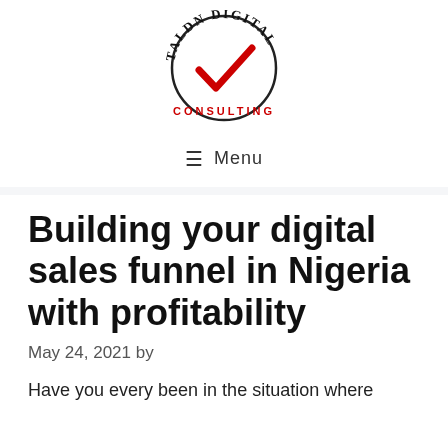[Figure (logo): Taldn Digital Consulting logo: circular arc text reading TALDN DIGITAL in black serif, with a red checkmark in the center, and CONSULTING in red text below]
≡ Menu
Building your digital sales funnel in Nigeria with profitability
May 24, 2021 by
Have you every been in the situation where